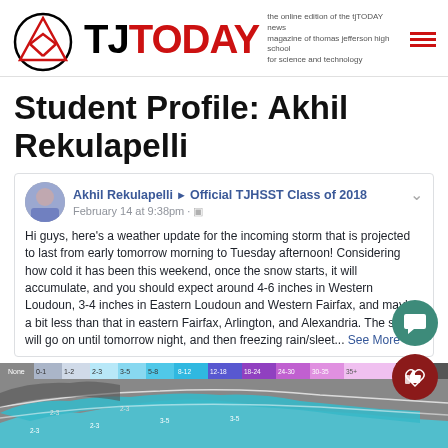TJ TODAY — the online edition of the tjTODAY news magazine of thomas jefferson high school for science and technology
Student Profile: Akhil Rekulapelli
[Figure (screenshot): Facebook post by Akhil Rekulapelli shared to Official TJHSST Class of 2018, dated February 14 at 9:38pm. Post text: Hi guys, here's a weather update for the incoming storm that is projected to last from early tomorrow morning to Tuesday afternoon! Considering how cold it has been this weekend, once the snow starts, it will accumulate, and you should expect around 4-6 inches in Western Loudoun, 3-4 inches in Eastern Loudoun and Western Fairfax, and maybe a bit less than that in eastern Fairfax, Arlington, and Alexandria. The snow will go on until tomorrow night, and then freezing rain/sleet... See More]
[Figure (map): Weather map showing snowfall accumulation forecast for the mid-Atlantic region, with a color legend ranging from None through 35+ inches in increments, overlaid on a gray map with teal/cyan colored snow accumulation regions.]